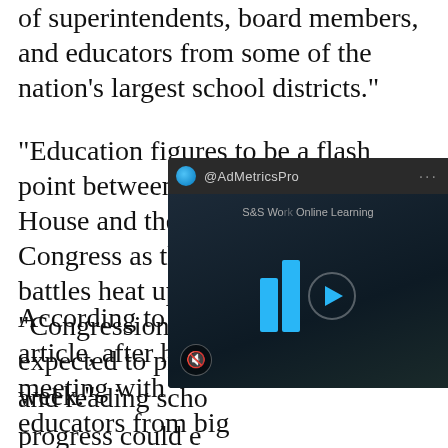of superintendents, board members, and educators from some of the nation's largest school districts."
"Education figures to be a flash point between the Democratic White House and the Republican-run Congress as this year's budget battles heat up," the article said. "Congressional Republicans are expected to propose a budget this week."
According to the article, after his meeting with educators from big city school officials, "[...] and reading scho[ols...] progress could e[...] more help."
"Obama said he [met with] congressional Re[publicans...]
[Figure (screenshot): AdMetricsPro video advertisement overlay with dark background, play button, and audio bars icon. Shows S&S Wo[...] Online Learning branding.]